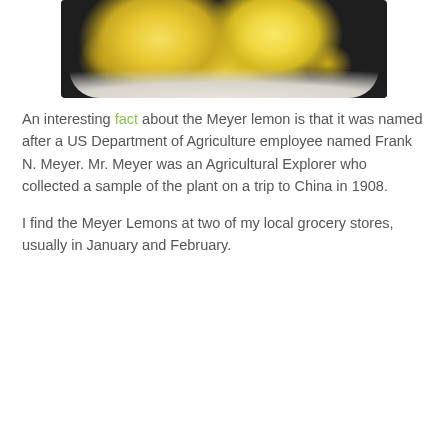[Figure (photo): A white bowl filled with yellow Meyer lemons, viewed from above, on a dark surface.]
An interesting fact about the Meyer lemon is that it was named after a US Department of Agriculture employee named Frank N. Meyer. Mr. Meyer was an Agricultural Explorer who collected a sample of the plant on a trip to China in 1908.
I find the Meyer Lemons at two of my local grocery stores, usually in January and February.